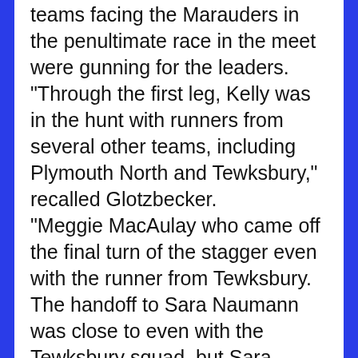teams facing the Marauders in the penultimate race in the meet were gunning for the leaders.
"Through the first leg, Kelly was in the hunt with runners from several other teams, including Plymouth North and Tewksbury," recalled Glotzbecker.
"Meggie MacAulay who came off the final turn of the stagger even with the runner from Tewksbury. The handoff to Sara Naumann was close to even with the Tewksbury squad, but Sara managed to pass their third runner on the back stretch. The final hand-off to Cella was made a few meters ahead of Tewksbury and she maintained that lead" through the finish, Glotzbecker said.